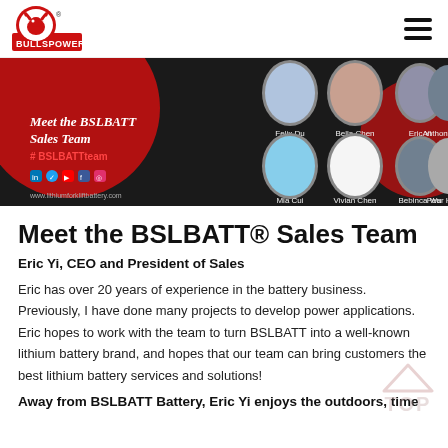BULLSPOWER logo and navigation menu
[Figure (photo): Banner image showing the BSLBATT Sales Team with portraits of Felix Du, Bella Chen, Eric Yi, Anthony Guan (top row) and Mia Cui, Vivian Chen, Bebinca Wu, Pear Huang (bottom row) on a dark background with text 'Meet the BSLBATT Sales Team #BSLBATTteam' and social media icons]
Meet the BSLBATT® Sales Team
Eric Yi, CEO and President of Sales
Eric has over 20 years of experience in the battery business. Previously, I have done many projects to develop power applications. Eric hopes to work with the team to turn BSLBATT into a well-known lithium battery brand, and hopes that our team can bring customers the best lithium battery services and solutions!
Away from BSLBATT Battery, Eric Yi enjoys the outdoors, time